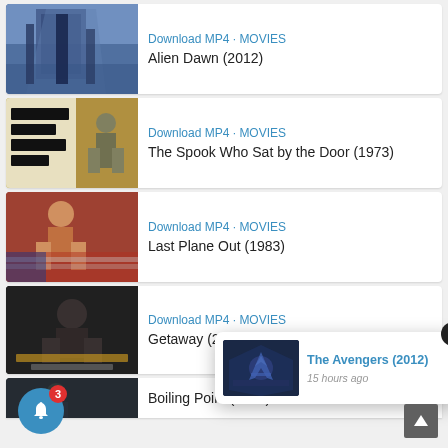[Figure (screenshot): Movie listing card: Alien Dawn (2012) with thumbnail]
Download MP4 · MOVIES
Alien Dawn (2012)
[Figure (screenshot): Movie listing card: The Spook Who Sat by the Door (1973) with thumbnail]
Download MP4 · MOVIES
The Spook Who Sat by the Door (1973)
[Figure (screenshot): Movie listing card: Last Plane Out (1983) with thumbnail]
Download MP4 · MOVIES
Last Plane Out (1983)
[Figure (screenshot): Movie listing card: Getaway (2013) with thumbnail]
Download MP4 · MOVIES
Getaway (2013)
[Figure (screenshot): Notification popup: The Avengers (2012) - 15 hours ago]
The Avengers (2012)
15 hours ago
[Figure (screenshot): Partial movie card at bottom: Boiling Point (1993)]
Boiling Point (1993)